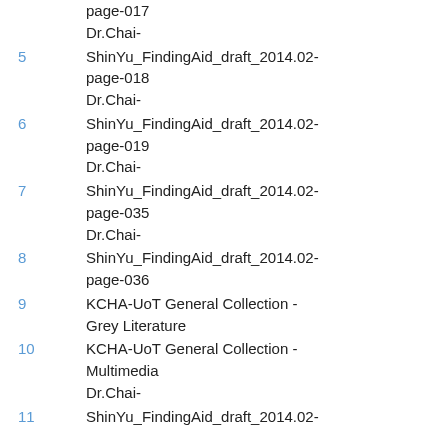Dr.Chai-ShinYu_FindingAid_draft_2014.02-page-017
5  Dr.Chai-ShinYu_FindingAid_draft_2014.02-page-018
6  Dr.Chai-ShinYu_FindingAid_draft_2014.02-page-019
7  Dr.Chai-ShinYu_FindingAid_draft_2014.02-page-035
8  Dr.Chai-ShinYu_FindingAid_draft_2014.02-page-036
9  KCHA-UoT General Collection - Grey Literature
10  KCHA-UoT General Collection - Multimedia
11  Dr.Chai-ShinYu_FindingAid_draft_2014.02-